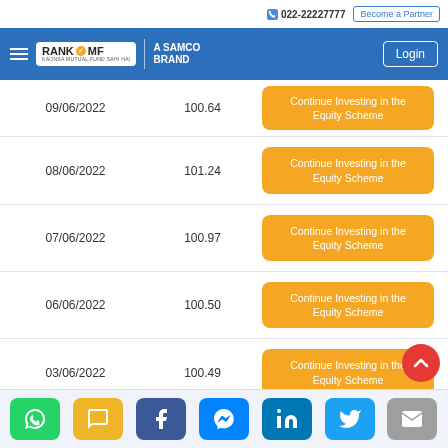022-22227777 | Become a Partner | RANK MF A SAMCO BRAND | Login
| Date | NAV | Action |
| --- | --- | --- |
| 09/06/2022 | 100.64 | Continue Investing in the Equity Scheme |
| 08/06/2022 | 101.24 | Continue Investing in the Equity Scheme |
| 07/06/2022 | 100.97 | Continue Investing in the Equity Scheme |
| 06/06/2022 | 100.50 | Continue Investing in the Equity Scheme |
| 03/06/2022 | 100.49 | Continue Investing in the Equity Scheme |
| 02/06/2022 | 100.01 | Continue Investing in the Equity Scheme |
WhatsApp | SMS | Facebook | Messenger | LinkedIn | Twitter | Email